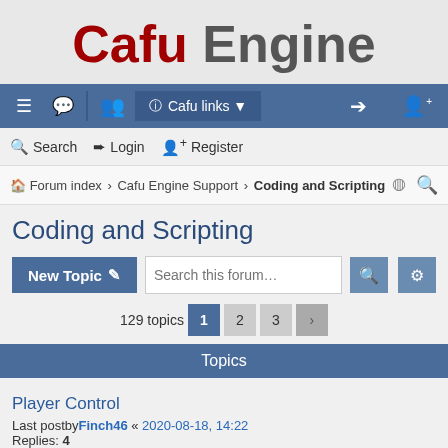[Figure (logo): Cafu Engine logo — 'Cafu' in dark red bold, 'Engine' in gray]
Navigation bar with menu, chat, members, Cafu links, login and register icons
Search | Login | Register
Forum index > Cafu Engine Support > Coding and Scripting
Coding and Scripting
New Topic | Search this forum... | 129 topics | 1 2 3 >
Topics
Player Control
Last postby Finch46 « 2020-08-18, 14:22
Replies: 4
Click on Entity and do something
Last postby arfur9 « 2020-02-13, 13:38
Replies: 3
Changing Player Size By Player Control